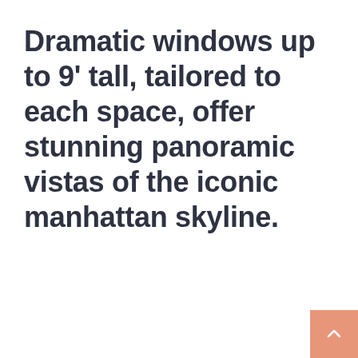Dramatic windows up to 9' tall, tailored to each space, offer stunning panoramic vistas of the iconic manhattan skyline.